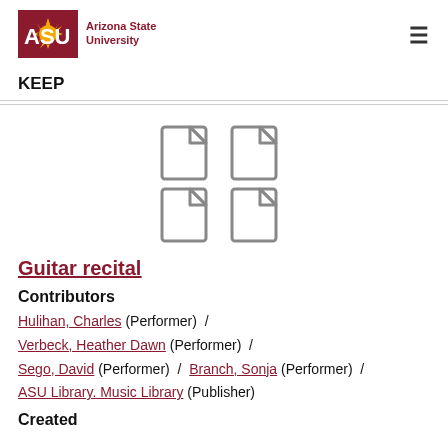[Figure (logo): Arizona State University logo with ASU text in maroon and gold sunburst, followed by 'Arizona State University' text]
KEEP
[Figure (illustration): Four document/file icons arranged in a 2x2 grid, shown in gray]
Guitar recital
Contributors
Hulihan, Charles (Performer) / Verbeck, Heather Dawn (Performer) / Sego, David (Performer) / Branch, Sonja (Performer) / ASU Library. Music Library (Publisher)
Created